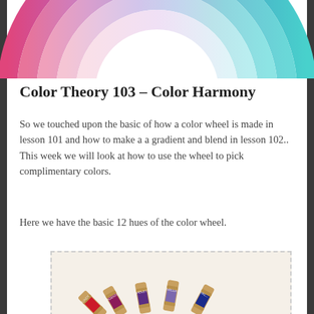[Figure (illustration): Top portion of a color wheel showing rainbow gradient arcs from pink/red on the left through purple, blue, teal, and cyan on the right, with lighter inner rings fading to white at center]
Color Theory 103 – Color Harmony
So we touched upon the basic of how a color wheel is made in lesson 101 and how to make a a gradient and blend in lesson 102.. This week we will look at how to use the wheel to pick complimentary colors.
Here we have the basic 12 hues of the color wheel.
[Figure (photo): Photo of a Color Wheel infographic showing thread spools fanned out labeled with colors. Labels indicate Secondary, Tertiary, Primary positions. Thread colors visible include red/crimson, magenta/burgundy, violet, lavender, and dark blue/royal blue.]